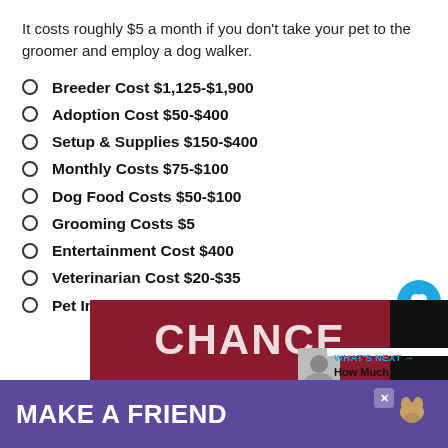It costs roughly $5 a month if you don't take your pet to the groomer and employ a dog walker.
Breeder Cost $1,125-$1,900
Adoption Cost $50-$400
Setup & Supplies $150-$400
Monthly Costs $75-$100
Dog Food Costs $50-$100
Grooming Costs $5
Entertainment Cost $400
Veterinarian Cost $20-$35
Pet Insurance $50
[Figure (other): Advertisement banner reading MAKE A FRIEND with a dog image]
WHAT'S NEXT → How Much Does An...